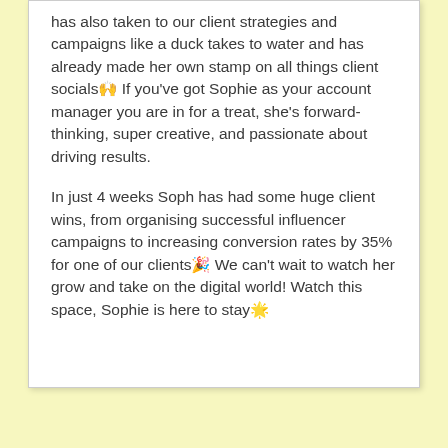has also taken to our client strategies and campaigns like a duck takes to water and has already made her own stamp on all things client socials🙌 If you've got Sophie as your account manager you are in for a treat, she's forward-thinking, super creative, and passionate about driving results.

In just 4 weeks Soph has had some huge client wins, from organising successful influencer campaigns to increasing conversion rates by 35% for one of our clients🎉 We can't wait to watch her grow and take on the digital world! Watch this space, Sophie is here to stay🌟